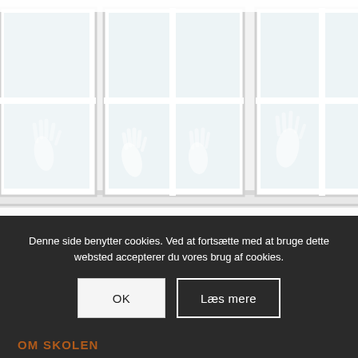[Figure (illustration): Illustration of classroom windows with raised hands visible through the glass panes, faded/light-colored image showing children raising hands behind windows]
Denne side benytter cookies. Ved at fortsætte med at bruge dette websted accepterer du vores brug af cookies.
OK
Læs mere
OM SKOLEN